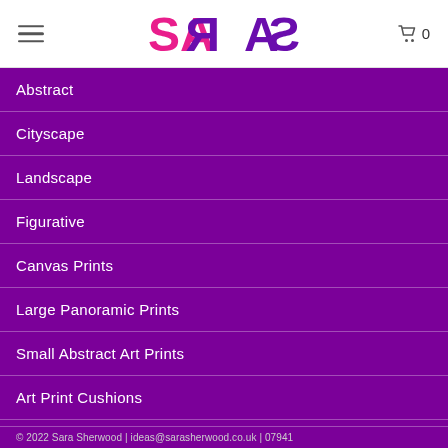[Figure (logo): SARAS brand logo in pink and purple stylized text]
Abstract
Cityscape
Landscape
Figurative
Canvas Prints
Large Panoramic Prints
Small Abstract Art Prints
Art Print Cushions
Contemporary Jewellery
© 2022 Sara Sherwood | ideas@sarasherwood.co.uk | 07941